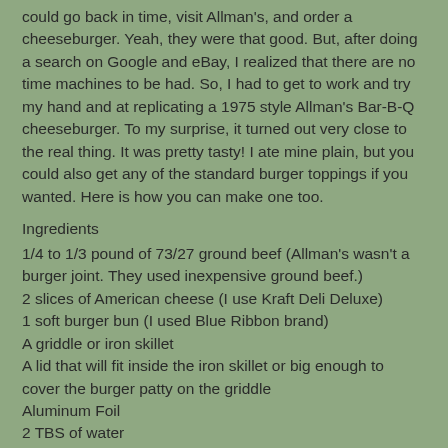could go back in time, visit Allman's, and order a cheeseburger. Yeah, they were that good. But, after doing a search on Google and eBay, I realized that there are no time machines to be had. So, I had to get to work and try my hand and at replicating a 1975 style Allman's Bar-B-Q cheeseburger. To my surprise, it turned out very close to the real thing. It was pretty tasty! I ate mine plain, but you could also get any of the standard burger toppings if you wanted. Here is how you can make one too.
Ingredients
1/4 to 1/3 pound of 73/27 ground beef (Allman's wasn't a burger joint. They used inexpensive ground beef.)
2 slices of American cheese (I use Kraft Deli Deluxe)
1 soft burger bun (I used Blue Ribbon brand)
A griddle or iron skillet
A lid that will fit inside the iron skillet or big enough to cover the burger patty on the griddle
Aluminum Foil
2 TBS of water
Salt & Pepper